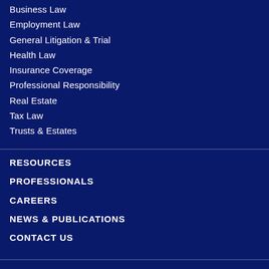Business Law
Employment Law
General Litigation & Trial
Health Law
Insurance Coverage
Professional Responsibility
Real Estate
Tax Law
Trusts & Estates
RESOURCES
PROFESSIONALS
CAREERS
NEWS & PUBLICATIONS
CONTACT US